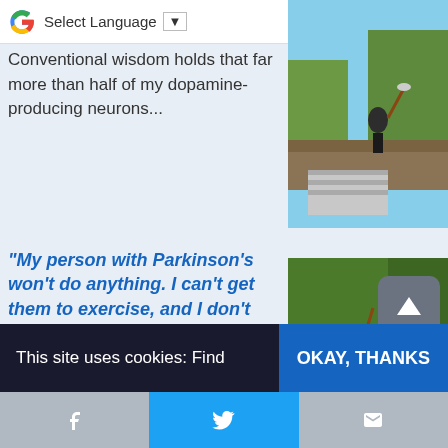Select Language ▼
[Figure (photo): Person on roof doing work, outdoor shot]
Conventional wisdom holds that far more than half of my dopamine-producing neurons...
“My person with Parkinson’s won’t do anything. I can’t get them to exercise, and I don’t know what to do.” 3 years ago
The Davis Phinney Foundation (DPF) has an article on their website that...
[Figure (photo): People walking through muddy trail with shovels]
This site uses cookies: Find out... | OKAY, THANKS | Facebook | Twitter | Email